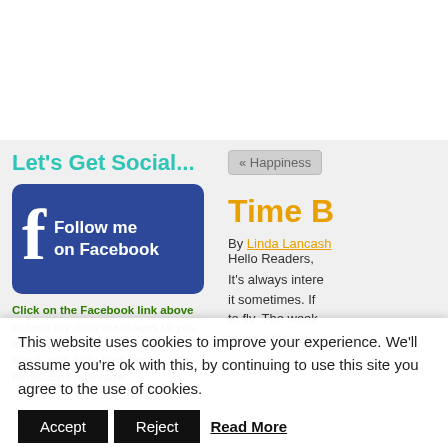Let's Get Social...
[Figure (logo): Facebook Follow me on Facebook button - dark blue rounded rectangle with large white letter F and text 'Follow me on Facebook']
Click on the Facebook link above to read my daily messages to you all and share my thoughts. Read your daily birthday horoscope message
[Figure (other): Navigation button '« Happiness']
Time B
By Linda Lancash Hello Readers,
It's always intere it sometimes. If to fly. The week waiting for some
This website uses cookies to improve your experience. We'll assume you're ok with this, by continuing to use this site you agree to the use of cookies.
Accept
Reject
Read More